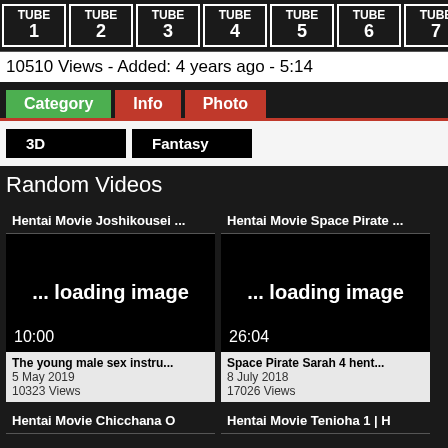TUBE 1 | TUBE 2 | TUBE 3 | TUBE 4 | TUBE 5 | TUBE 6 | TUBE 7
10510 Views - Added: 4 years ago - 5:14
Category  Info  Photo
3D  Fantasy
Random Videos
[Figure (screenshot): Video thumbnail placeholder showing '... loading image' with duration 10:00]
Hentai Movie Joshikousei ...
The young male sex instru...
5 May 2019
10323 Views
[Figure (screenshot): Video thumbnail placeholder showing '... loading image' with duration 26:04]
Hentai Movie Space Pirate ...
Space Pirate Sarah 4 hent...
8 July 2018
17026 Views
Hentai Movie Chicchana O
Hentai Movie Tenioha 1 | H